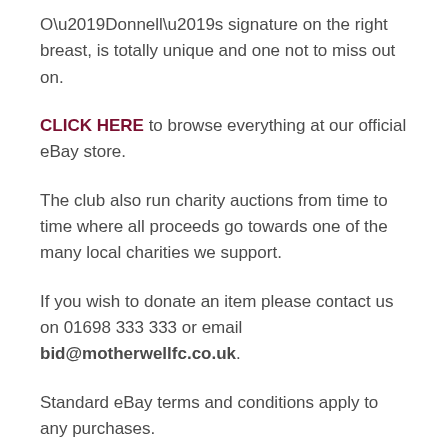O’Donnell’s signature on the right breast, is totally unique and one not to miss out on.
CLICK HERE to browse everything at our official eBay store.
The club also run charity auctions from time to time where all proceeds go towards one of the many local charities we support.
If you wish to donate an item please contact us on 01698 333 333 or email bid@motherwellfc.co.uk.
Standard eBay terms and conditions apply to any purchases.